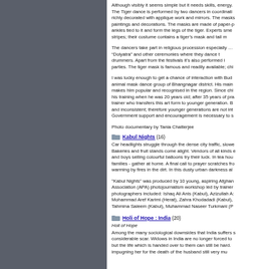Although visibly it seems simple but it needs skills, energy. The Tiger dance is performed by two dancers in coordination, richly decorated with applique work and mirrors. The masks, paintings and decorations. The masks are made of paper-p... ankles tied to it and form the legs of the tiger. Experts sme... stripes; their costume contains a tiger’s mask and tail m...
The dancers take part in religious procession especially … “Dolyatra” and other ceremonies where they dance t... drummers. Apart from the festivals it’s also performed i... parties. The tiger mask is famous and readily available; chi...
I was lucky enough to get a chance of interaction with Budd... animal mask dance group of Bhangnagar district. His main ... makes him popular and recognised in the region. Since chi... his training when he was 20 years old; after 35 years of pra... trainer who transfers this art form to younger generation. B... and inconsistent; therefore younger generations are not int... Government support and encouragement is necessary to s...
Photo documentary by Tania Chatterjee
Kabul Nights (16)
Car headlights struggle through the dense city traffic, slowe... Bakeries and fruit stands come alight. Vendors of all kinds e... and boys selling colourful balloons try their luck. In tea hou... families - gather at home. A final call to prayer scratches fro... warming by fires in the dirt. In this dusty urban darkness al...
"Kabul Nights" was produced by 10 young, aspiring Afghan... Association (APA) photojournalism workshop led by trainer... photographers included: Ishaq Ali Anis (Kabul), Azizullah A:... Mohammad Aref Karimi (Herat), Zahra Khodadadi (Kabul),... Tahmina Saleem (Kabul), Muhammad Naseer Turkmani (P...
Holi of Hope : India (20)
Holi of Hope
Among the many sociological downsides that India suffers s... considerable scar. Widows in India are no longer forced to... but the life which is handed over to them can still be hard. ... impugning her for the death of the husband still very mu...